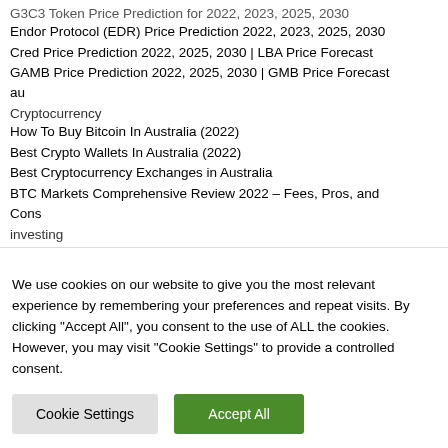G3C3 Token Price Prediction for 2022, 2023, 2025, 2030
Endor Protocol (EDR) Price Prediction 2022, 2023, 2025, 2030
Cred Price Prediction 2022, 2025, 2030 | LBA Price Forecast
GAMB Price Prediction 2022, 2025, 2030 | GMB Price Forecast au
Cryptocurrency
How To Buy Bitcoin In Australia (2022)
Best Crypto Wallets In Australia (2022)
Best Cryptocurrency Exchanges in Australia
BTC Markets Comprehensive Review 2022 – Fees, Pros, and Cons
investing
How To Invest In Silver Australia?
We use cookies on our website to give you the most relevant experience by remembering your preferences and repeat visits. By clicking "Accept All", you consent to the use of ALL the cookies. However, you may visit "Cookie Settings" to provide a controlled consent.